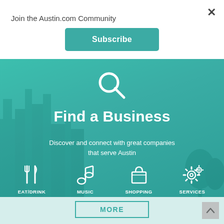Join the Austin.com Community
Subscribe
[Figure (screenshot): Teal banner with search icon, 'Find a Business' heading, subtitle 'Discover and connect with great companies that serve Austin', and four category icons: EAT/DRINK, MUSIC, SHOPPING, SERVICES. City skyline visible in background.]
MORE